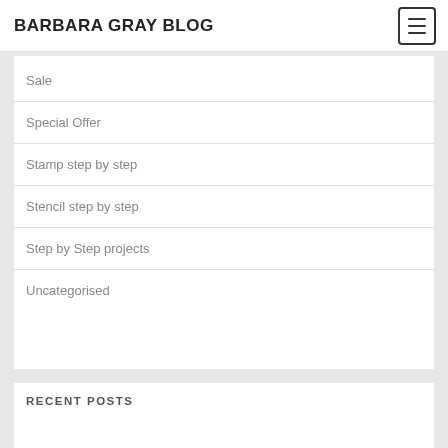BARBARA GRAY BLOG
Sale
Special Offer
Stamp step by step
Stencil step by step
Step by Step projects
Uncategorised
RECENT POSTS